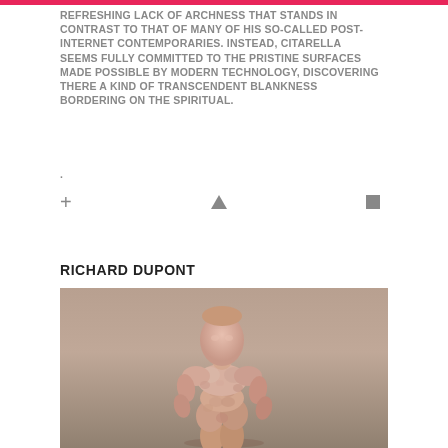REFRESHING LACK OF ARCHNESS THAT STANDS IN CONTRAST TO THAT OF MANY OF HIS SO-CALLED POST-INTERNET CONTEMPORARIES. INSTEAD, CITARELLA SEEMS FULLY COMMITTED TO THE PRISTINE SURFACES MADE POSSIBLE BY MODERN TECHNOLOGY, DISCOVERING THERE A KIND OF TRANSCENDENT BLANKNESS BORDERING ON THE SPIRITUAL.
RICHARD DUPONT
[Figure (photo): A 3D-rendered or sculpted human male figure in a standing pose, with visible musculature and an unusual lumpy/distorted texture on the skin surface. The figure appears salmon/flesh-colored against a neutral gray-beige background. The sculpture faces slightly to the right.]